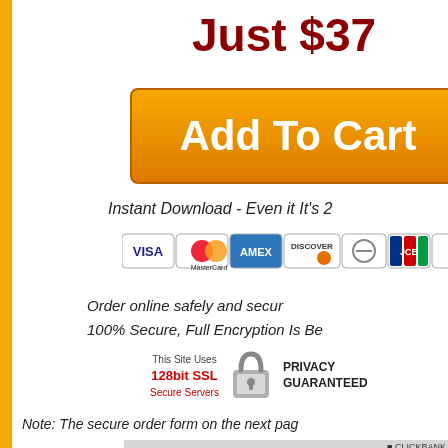Just $37
[Figure (other): Orange 'Add To Cart' button]
Instant Download - Even it It's 2
[Figure (other): Credit card icons: VISA, MasterCard, AMEX, Discover, Diners Club, JCB, and more]
Order online safely and securely
100% Secure, Full Encryption Is Be
[Figure (other): 128bit SSL Secure Servers - PRIVACY GUARANTEED badge with padlock]
Note: The secure order form on the next pag
[Figure (screenshot): ClickBank secure payment form preview showing 'Your Order' and item row for Hot Metabolism]